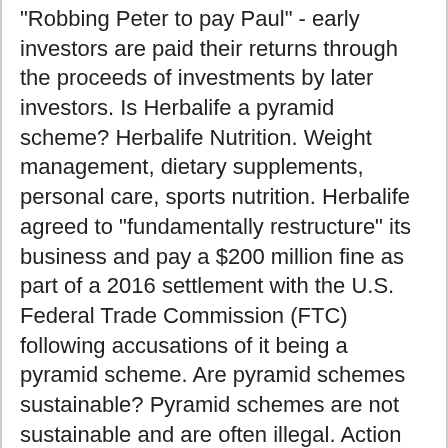"Robbing Peter to pay Paul" - early investors are paid their returns through the proceeds of investments by later investors. Is Herbalife a pyramid scheme? Herbalife Nutrition. Weight management, dietary supplements, personal care, sports nutrition. Herbalife agreed to "fundamentally restructure" its business and pay a $200 million fine as part of a 2016 settlement with the U.S. Federal Trade Commission (FTC) following accusations of it being a pyramid scheme. Are pyramid schemes sustainable? Pyramid schemes are not sustainable and are often illegal. Action Fraud, the National Cyber Crime and Reporting Centre, says they've noticed a rise in so-called investment schemes being advertised on these channels. Are all MLMs pyramid schemes? MLM businesses operate in all 50 U.S. states. Some sources say that all MLMs are essentially pyramid schemes, even if they are...